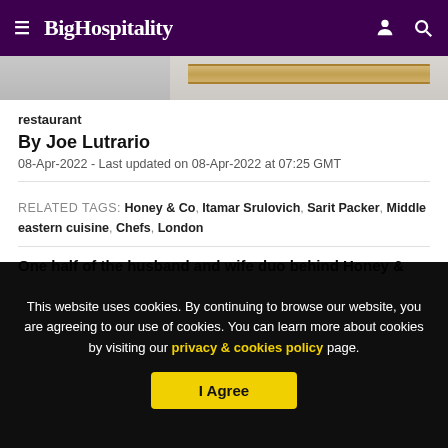BigHospitality
[Figure (photo): Partial view of a restaurant interior — grey wall on left, wooden plank/shelf visible on right side]
restaurant
By Joe Lutrario
08-Apr-2022 - Last updated on 08-Apr-2022 at 07:25 GMT
RELATED TAGS: Honey & Co, Itamar Srulovich, Sarit Packer, Middle eastern cuisine, Chefs, London
One half of the husband and wife duo behind Honey &
This website uses cookies. By continuing to browse our website, you are agreeing to our use of cookies. You can learn more about cookies by visiting our privacy & cookies policy page.
I Agree